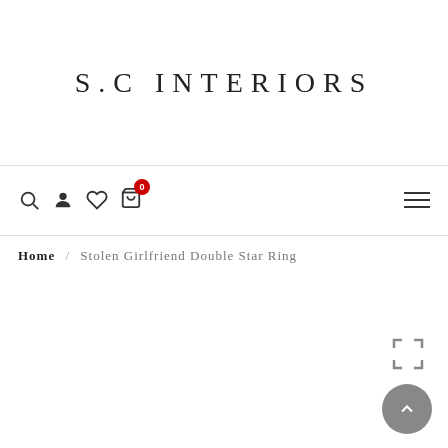S.C INTERIORS
[Figure (screenshot): Navigation bar with search, account, wishlist, cart (badge: 0), and hamburger menu icons]
Home / Stolen Girlfriend Double Star Ring
[Figure (other): Fullscreen expand icon (four corners bracket)]
[Figure (other): Back to top circular arrow-up button]